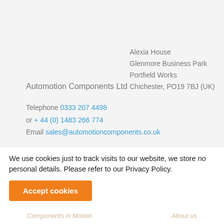Automotion Components Ltd
Alexia House
Glenmore Business Park
Portfield Works
Chichester, PO19 7BJ (UK)
Telephone 0333 207 4498
or + 44 (0) 1483 266 774
Email sales@automotioncomponents.co.uk
Company registration no.2761902
Company VAT number GB 408154022
We use cookies just to track visits to our website, we store no personal details. Please refer to our Privacy Policy.
Accept cookies
About us
Components in Motion
About us